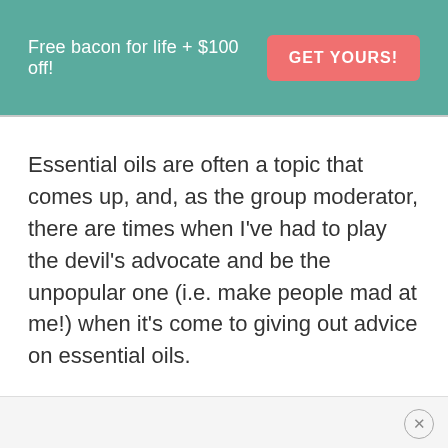Free bacon for life + $100 off! GET YOURS!
Essential oils are often a topic that comes up, and, as the group moderator, there are times when I've had to play the devil's advocate and be the unpopular one (i.e. make people mad at me!) when it's come to giving out advice on essential oils.